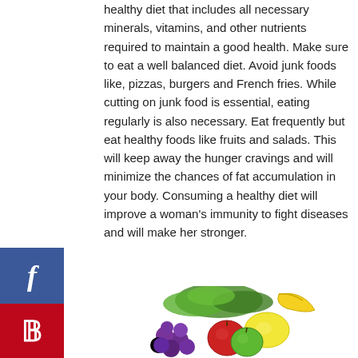healthy diet that includes all necessary minerals, vitamins, and other nutrients required to maintain a good health. Make sure to eat a well balanced diet. Avoid junk foods like, pizzas, burgers and French fries. While cutting on junk food is essential, eating regularly is also necessary. Eat frequently but eat healthy foods like fruits and salads. This will keep away the hunger cravings and will minimize the chances of fat accumulation in your body. Consuming a healthy diet will improve a woman's immunity to fight diseases and will make her stronger.
[Figure (illustration): Facebook share button (blue with f icon) and Pinterest share button (red with P icon) as social media sidebar buttons]
[Figure (photo): A colorful pile of fresh fruits and vegetables including grapes, apples, lemons, bananas, and leafy greens]